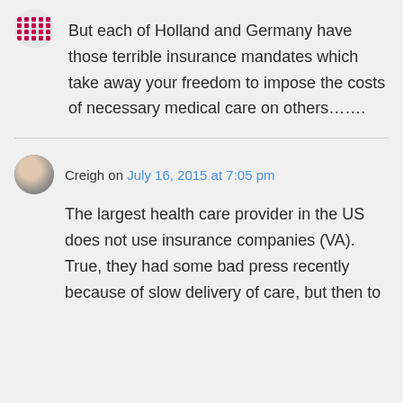[Figure (other): Avatar icon with dot grid pattern in red/pink]
But each of Holland and Germany have those terrible insurance mandates which take away your freedom to impose the costs of necessary medical care on others…….
Creigh on July 16, 2015 at 7:05 pm
[Figure (photo): Circular avatar photo of a person]
The largest health care provider in the US does not use insurance companies (VA). True, they had some bad press recently because of slow delivery of care, but then to